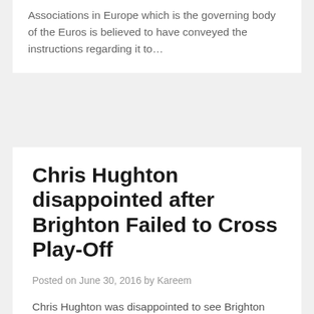Associations in Europe which is the governing body of the Euros is believed to have conveyed the instructions regarding it to…
Chris Hughton disappointed after Brighton Failed to Cross Play-Off
Posted on June 30, 2016 by Kareem
Chris Hughton was disappointed to see Brighton failed to achieve qualification play-off final after a 1-1 draw with Sheffield Wednesday in the second leg. A 2-0 loss in the first leg meant that his team were knocked out 3-1 on aggregate. The defeat was especially hard